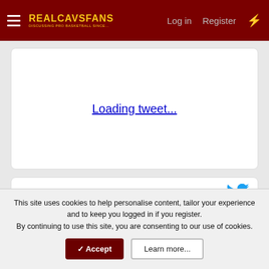RealCavsFans — Log in   Register
Loading tweet...
[Figure (other): Twitter bird icon in cyan/blue color]
This site uses cookies to help personalise content, tailor your experience and to keep you logged in if you register.
By continuing to use this site, you are consenting to our use of cookies.
✓ Accept   Learn more...